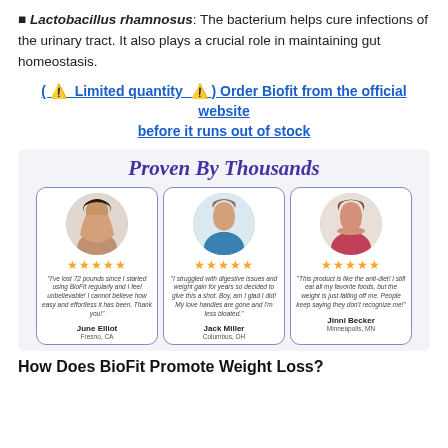Lactobacillus rhamnosus: The bacterium helps cure infections of the urinary tract. It also plays a crucial role in maintaining gut homeostasis.
( ⚠ Limited quantity ⚠ ) Order Biofit from the official website before it runs out of stock
[Figure (infographic): Proven By Thousands testimonial section with three customer reviews (June Elliot, Jack Miller, Jinni Becker) each with avatar photos, 5-star ratings, and review quotes.]
How Does BioFit Promote Weight Loss?